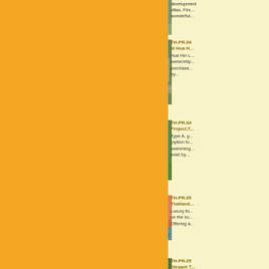[Figure (photo): Aerial view of residential villas development]
development villas. Firs... wonderful...
[Figure (photo): Aerial view of Hua Hin property development with roads]
TH-PR.04 at Hua H... Hua Hin L... ownership... purchase... by...
[Figure (photo): Modern villa with swimming pool and tropical garden]
TH-PR.04 Project,T... Type A. g... (option fo... swimming... exist by...
[Figure (photo): Luxury resort with pool overlooking the sea at sunset]
TH-PR.05 Thailand... Luxury liv... on the so... Offering a...
[Figure (photo): Tropical property with lush greenery]
TH-PR.05 Elegant T...